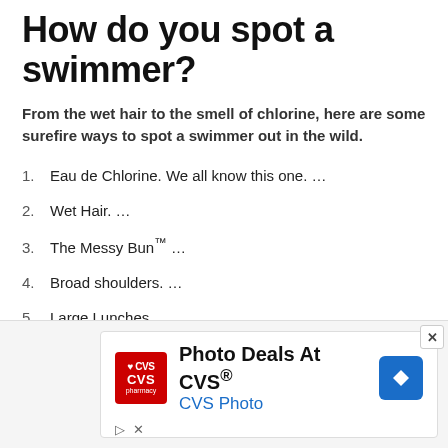How do you spot a swimmer?
From the wet hair to the smell of chlorine, here are some surefire ways to spot a swimmer out in the wild.
1. Eau de Chlorine. We all know this one. ...
2. Wet Hair. ...
3. The Messy Bun™ ...
4. Broad shoulders. ...
5. Large Lunches. ...
6. Goggle marks. ...
7. 'Swimmer Talk' ...
[Figure (screenshot): Advertisement banner for CVS Photo with CVS Pharmacy logo, text 'Photo Deals At CVS®', 'CVS Photo', navigation icon, and close/play controls.]